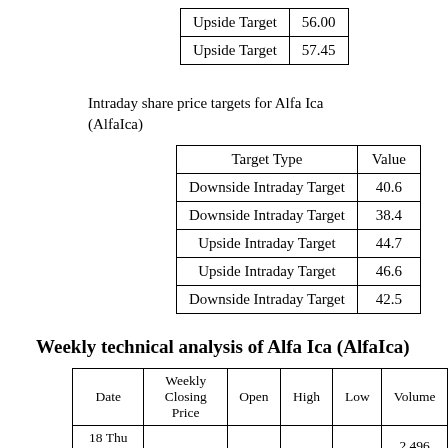|  |  |
| --- | --- |
| Upside Target | 56.00 |
| Upside Target | 57.45 |
Intraday share price targets for Alfa Ica (AlfaIca)
| Target Type | Value |
| --- | --- |
| Downside Intraday Target | 40.6 |
| Downside Intraday Target | 38.4 |
| Upside Intraday Target | 44.7 |
| Upside Intraday Target | 46.6 |
| Downside Intraday Target | 42.5 |
Weekly technical analysis of Alfa Ica (AlfaIca)
| Date | Weekly Closing Price | Open | High | Low | Volume |
| --- | --- | --- | --- | --- | --- |
| 18 Thu Aug 2022 | 42.80 | 40.55 | 44.40 | 40.30 | 2.496 times |